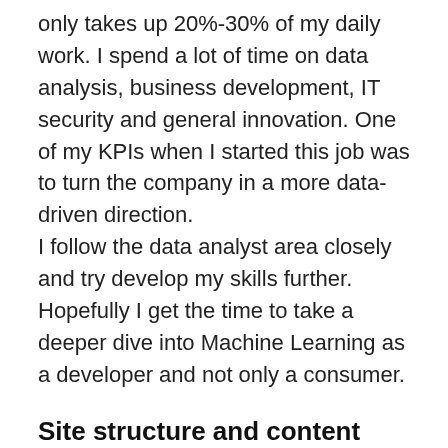only takes up 20%-30% of my daily work. I spend a lot of time on data analysis, business development, IT security and general innovation. One of my KPIs when I started this job was to turn the company in a more data-driven direction. I follow the data analyst area closely and try develop my skills further. Hopefully I get the time to take a deeper dive into Machine Learning as a developer and not only a consumer.
Site structure and content
The site is divided into three parts; blog, guides and resources. The main topics are of course tech and programming. The main focus will be on ruby and ruby on rails, but I hope to get time to take